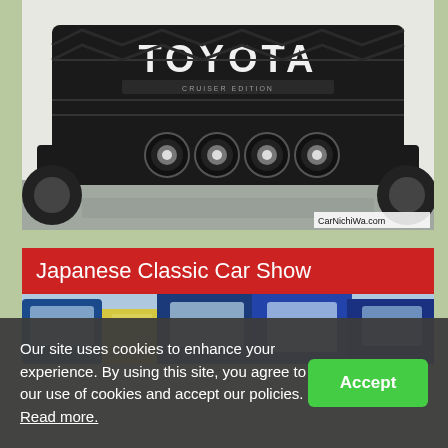[Figure (photo): Front view of a white Toyota Tundra TRD truck showing its large black grille with TOYOTA lettering and four round auxiliary lights mounted on a black front bumper. Watermark 'CarNichiWa.com' in bottom right.]
Japanese Classic Car Show
[Figure (photo): Partial view of classic Japanese cars showing blue and yellow vehicle doors and windows at a car show, with trees visible in the background.]
Our site uses cookies to enhance your experience. By using this site, you agree to our use of cookies and accept our policies. Read more.